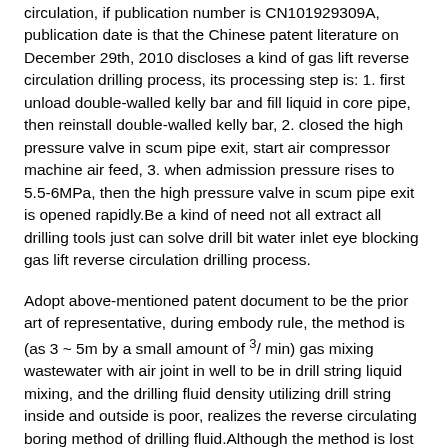circulation, if publication number is CN101929309A, publication date is that the Chinese patent literature on December 29th, 2010 discloses a kind of gas lift reverse circulation drilling process, its processing step is: 1. first unload double-walled kelly bar and fill liquid in core pipe, then reinstall double-walled kelly bar, 2. closed the high pressure valve in scum pipe exit, start air compressor machine air feed, 3. when admission pressure rises to 5.5-6MPa, then the high pressure valve in scum pipe exit is opened rapidly.Be a kind of need not all extract all drilling tools just can solve drill bit water inlet eye blocking gas lift reverse circulation drilling process.
Adopt above-mentioned patent document to be the prior art of representative, during embody rule, the method is (as 3 ~ 5m by a small amount of 3/ min) gas mixing wastewater with air joint in well to be in drill string liquid mixing, and the drilling fluid density utilizing drill string inside and outside is poor, realizes the reverse circulating boring method of drilling fluid.Although the method is lost in saving tolerance, saving equipment use amount and leakage and returned positive effect, mud must be used to